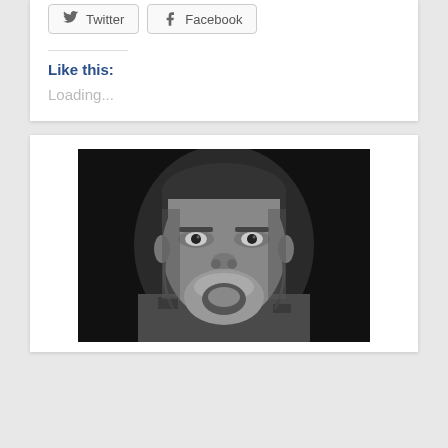Twitter
Facebook
Like this:
Loading...
[Figure (photo): Black and white portrait photograph of a man making a face — puffing out his lower lip/chin area and staring intensely at the camera. He is wearing a camouflage patterned top. The background is very dark/black.]